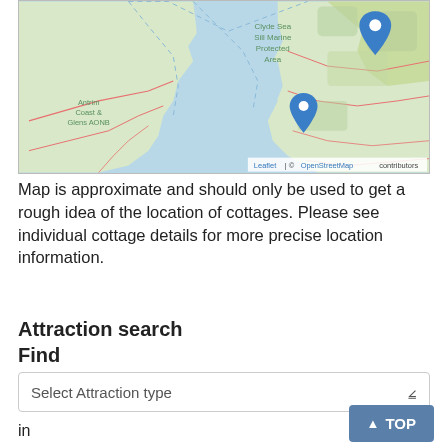[Figure (map): Leaflet/OpenStreetMap map showing coastal area of Northern Ireland including Antrim Coast & Glens AONB and Clyde Sea Sill Marine Protected Area, with two blue location pin markers.]
Map is approximate and should only be used to get a rough idea of the location of cottages. Please see individual cottage details for more precise location information.
Attraction search
Find
Select Attraction type
in